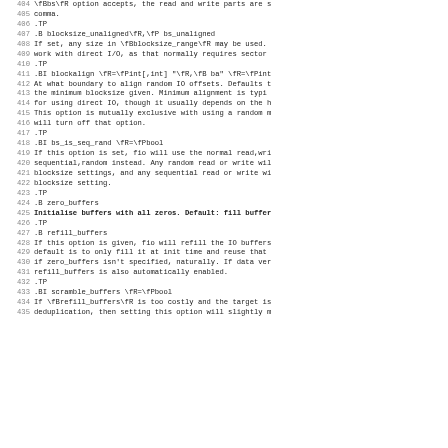Lines 404-435 of a man page / troff source for fio (Flexible I/O Tester) configuration options including blocksize_unaligned, blockalign, bs_is_seq_rand, zero_buffers, refill_buffers, scramble_buffers.